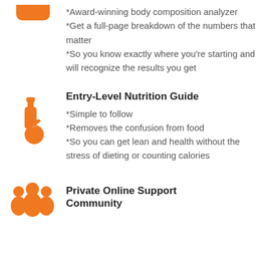[Figure (illustration): Orange rounded rectangle icon at top, partially cropped]
*Award-winning body composition analyzer
*Get a full-page breakdown of the numbers that matter
*So you know exactly where you're starting and will recognize the results you get
[Figure (illustration): Orange nutrition icon showing a bottle and apple]
Entry-Level Nutrition Guide
*Simple to follow
*Removes the confusion from food
*So you can get lean and health without the stress of dieting or counting calories
[Figure (illustration): Orange group/community icon with three people figures]
Private Online Support Community